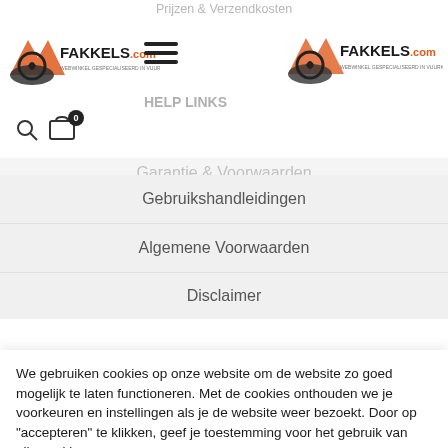Prijzen & Verzendkosten
[Figure (logo): Fakkels.com logo left - webwinkel gespecialiseerd in vuurkorven]
[Figure (logo): Fakkels.com logo right - webwinkel gespecialiseerd in vuurkorven]
HELP LINKS
Garantie & Voorwaarden
Gebruikshandleidingen
Algemene Voorwaarden
Disclaimer
We gebruiken cookies op onze website om de website zo goed mogelijk te laten functioneren. Met de cookies onthouden we je voorkeuren en instellingen als je de website weer bezoekt. Door op "accepteren" te klikken, geef je toestemming voor het gebruik van alle cookies.
Instellingen
ACCEPTEREN